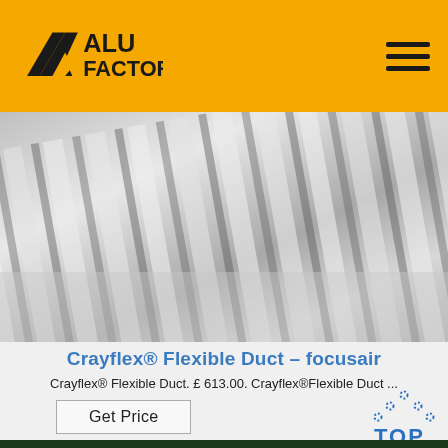ALU FACTORY
[Figure (photo): Close-up photo of metallic corrugated/ridged aluminum flexible duct material with reflective surface]
Crayflex® Flexible Duct – focusair
Crayflex® Flexible Duct. £ 613.00. Crayflex®Flexible Duct ...
Get Price
[Figure (illustration): TOP button icon with blue dots arranged in triangle above blue TOP text]
[Figure (photo): Dark green partial photo strip at bottom of page]